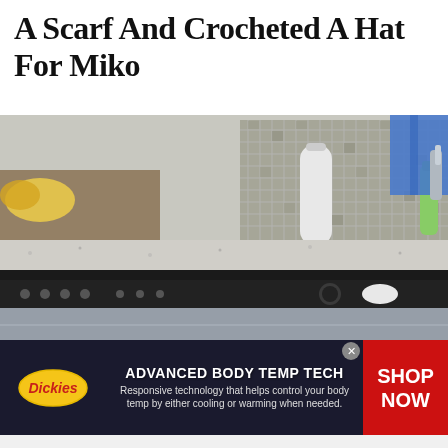A Scarf And Crocheted A Hat For Miko
[Figure (photo): Kitchen scene with stainless steel dishwasher, dark cabinets, granite countertop with kitchen items, and a small crocheted animal toy peeking from below]
[Figure (infographic): Dickies advertisement banner: ADVANCED BODY TEMP TECH - Responsive technology that helps control your body temp by either cooling or warming when needed. SHOP NOW button on red background.]